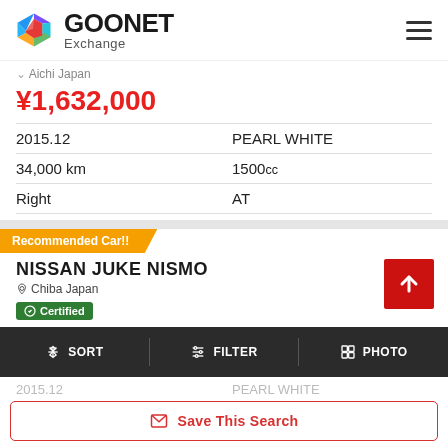[Figure (logo): GOONET Exchange logo with colorful geometric G icon]
Aichi Japan
¥1,632,000
|  |  |
| --- | --- |
| 2015.12 | PEARL WHITE |
| 34,000 km | 1500cc |
| Right | AT |
Recommended Car!!
NISSAN JUKE NISMO
Chiba Japan
Certified
SORT  FILTER  PHOTO
2015.12  PEARL WHITE
Save This Search
Right  AT